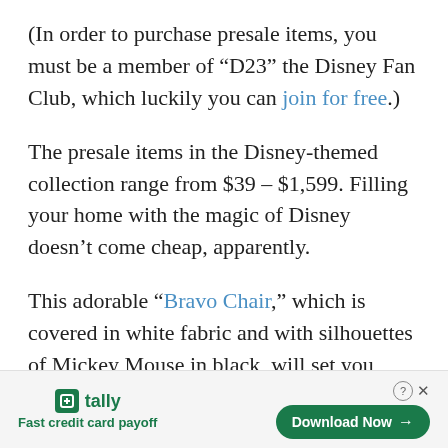(In order to purchase presale items, you must be a member of “D23” the Disney Fan Club, which luckily you can join for free.)
The presale items in the Disney-themed collection range from $39 – $1,599. Filling your home with the magic of Disney doesn’t come cheap, apparently.
This adorable “Bravo Chair,” which is covered in white fabric and with silhouettes of Mickey Mouse in black, will set you back
[Figure (other): Tally app advertisement banner. Logo on left with green icon and 'tally' text, tagline 'Fast credit card payoff'. On right: close button (? X) and green 'Download Now →' button.]